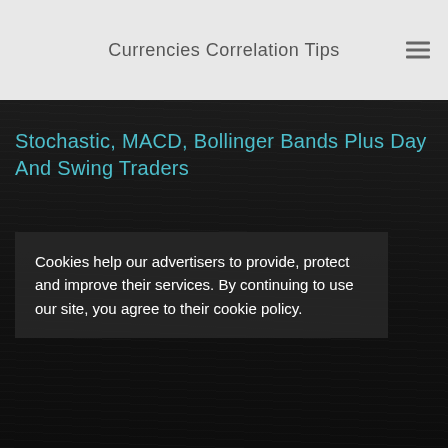Currencies Correlation Tips
Stochastic, MACD, Bollinger Bands Plus Day And Swing Traders
Cookies help our advertisers to provide, protect and improve their services. By continuing to use our site, you agree to their cookie policy.